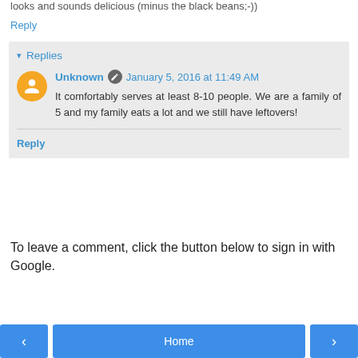looks and sounds delicious (minus the black beans;-))
Reply
Replies
Unknown  January 5, 2016 at 11:49 AM
It comfortably serves at least 8-10 people. We are a family of 5 and my family eats a lot and we still have leftovers!
Reply
To leave a comment, click the button below to sign in with Google.
SIGN IN WITH GOOGLE
< Home >